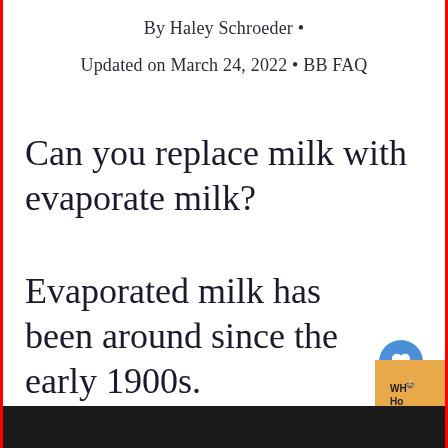By Haley Schroeder •
Updated on March 24, 2022 • BB FAQ
Can you replace milk with evaporate milk?
Evaporated milk has been around since the early 1900s.